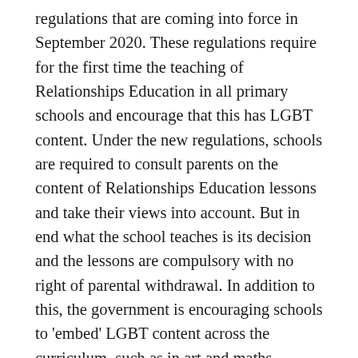regulations that are coming into force in September 2020. These regulations require for the first time the teaching of Relationships Education in all primary schools and encourage that this has LGBT content. Under the new regulations, schools are required to consult parents on the content of Relationships Education lessons and take their views into account. But in end what the school teaches is its decision and the lessons are compulsory with no right of parental withdrawal. In addition to this, the government is encouraging schools to 'embed' LGBT content across the curriculum, such as in art and maths lessons, so that children encounter it throughout the day and year and not just in specific RSE slots. This is all part of the drive to normalise LGBT relationships and lifestyles in the next generation via schools and the education system.